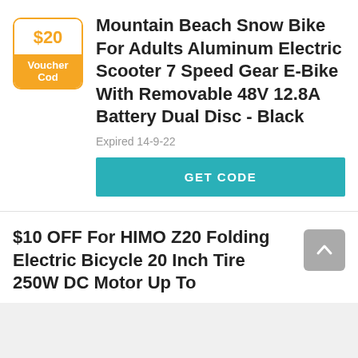[Figure (infographic): Voucher code box showing $20 amount in orange text with orange border, and 'Voucher Cod' label in white text on orange background]
Mountain Beach Snow Bike For Adults Aluminum Electric Scooter 7 Speed Gear E-Bike With Removable 48V 12.8A Battery Dual Disc - Black
Expired 14-9-22
GET CODE
$10 OFF For HIMO Z20 Folding Electric Bicycle 20 Inch Tire 250W DC Motor Up To 80k...